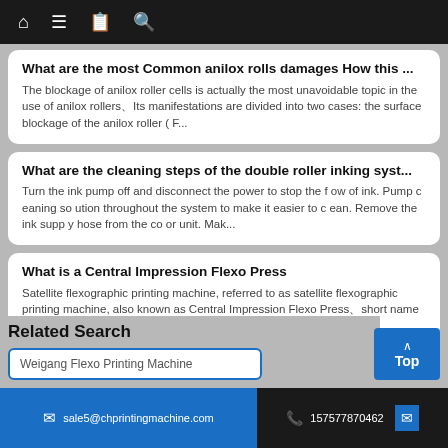Navigation bar with home, menu, book, and search icons
What are the most Common anilox rolls damages How this ...
The blockage of anilox roller cells is actually the most unavoidable topic in the use of anilox rollers、Its manifestations are divided into two cases: the surface blockage of the anilox roller ( F...
What are the cleaning steps of the double roller inking syst...
Turn the ink pump off and disconnect the power to stop the f ow of ink. Pump c eaning so ution throughout the system to make it easier to c ean. Remove the ink supp y hose from the co or unit. Mak...
What is a Central Impression Flexo Press
Satellite flexographic printing machine, referred to as satellite flexographic printing machine, also known as Central Impression Flexo Press、short name CI Flexo Press.  Each printing unit surroun...
Related Search
Weigang Flexo Printing Machine
sale5@chprintingmachine.com   157577870462